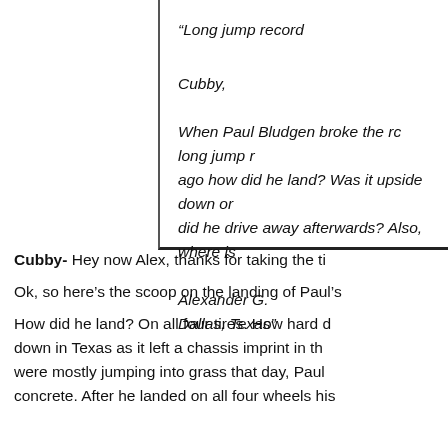“Long jump record

Cubby,

When Paul Bludgen broke the rc long jump record a few years ago how did he land? Was it upside down or right side up and did he drive away afterwards? Also, where is

Alexander G.
Dallas, Texas”
Cubby- Hey now Alex, thanks for taking the ti
Ok, so here’s the scoop on the landing of Paul’s
How did he land? On all four tires. How hard down in Texas as it left a chassis imprint in th were mostly jumping into grass that day, Paul concrete. After he landed on all four wheels his